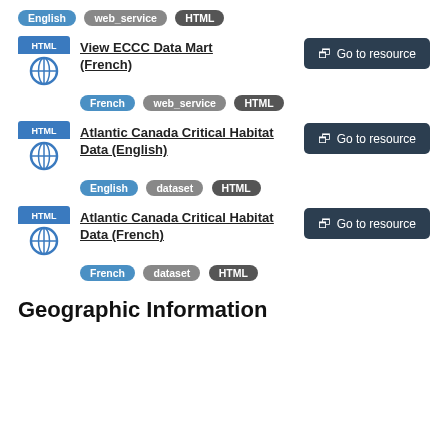English  web_service  HTML
View ECCC Data Mart (French)
French  web_service  HTML
Atlantic Canada Critical Habitat Data (English)
English  dataset  HTML
Atlantic Canada Critical Habitat Data (French)
French  dataset  HTML
Geographic Information